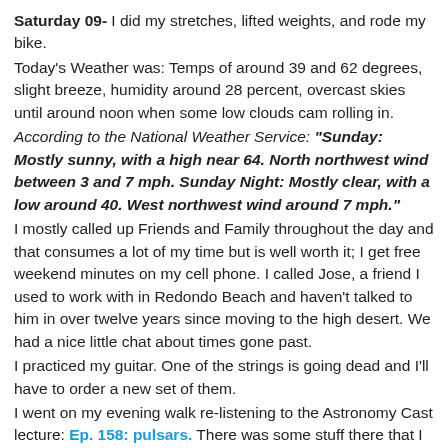Saturday 09- I did my stretches, lifted weights, and rode my bike.
Today's Weather was: Temps of around 39 and 62 degrees, slight breeze, humidity around 28 percent, overcast skies until around noon when some low clouds cam rolling in.
According to the National Weather Service: "Sunday: Mostly sunny, with a high near 64. North northwest wind between 3 and 7 mph. Sunday Night: Mostly clear, with a low around 40. West northwest wind around 7 mph."
I mostly called up Friends and Family throughout the day and that consumes a lot of my time but is well worth it; I get free weekend minutes on my cell phone. I called Jose, a friend I used to work with in Redondo Beach and haven't talked to him in over twelve years since moving to the high desert. We had a nice little chat about times gone past.
I practiced my guitar. One of the strings is going dead and I'll have to order a new set of them.
I went on my evening walk re-listening to the Astronomy Cast lecture: Ep. 158: pulsars. There was some stuff there that I wanted to make sure I understood.
Stoney called telling be to come on over and help him eat some of his Meals on Wheels. The meals are ok but not very